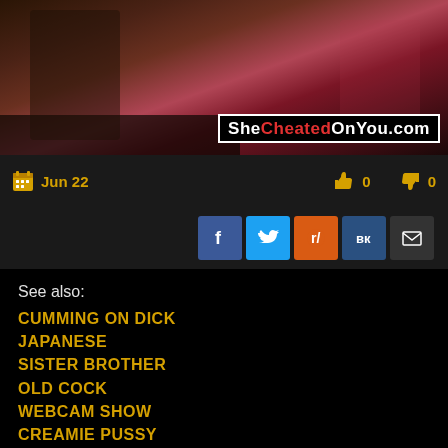[Figure (photo): Screenshot of a video thumbnail showing people in a dimly lit setting, with a watermark reading SheCheatedOnYou.com in the bottom right corner]
Jun 22  0  0
Share buttons: Facebook, Twitter, Reddit, VK, Email
See also:
CUMMING ON DICK
JAPANESE
SISTER BROTHER
OLD COCK
WEBCAM SHOW
CREAMIE PUSSY
CUM SWALLOW
HAIRY PUSSY
THAI กกกกกกกกกกกก
WET